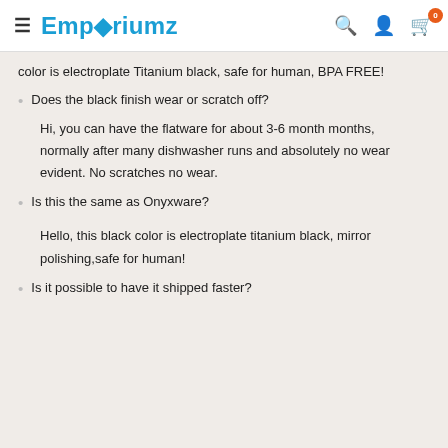Emporiumz
color is electroplate Titanium black, safe for human, BPA FREE!
Does the black finish wear or scratch off?
Hi, you can have the flatware for about 3-6 month months, normally after many dishwasher runs and absolutely no wear evident. No scratches no wear.
Is this the same as Onyxware?
Hello, this black color is electroplate titanium black, mirror polishing,safe for human!
Is it possible to have it shipped faster?